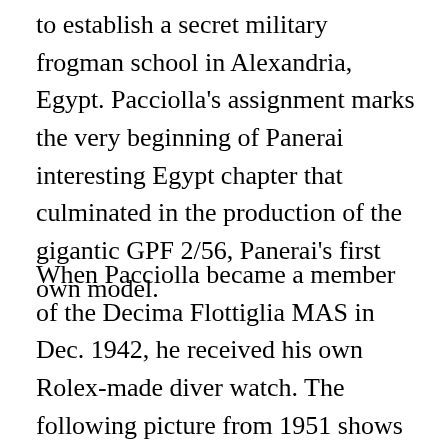to establish a secret military frogman school in Alexandria, Egypt. Pacciolla's assignment marks the very beginning of Panerai interesting Egypt chapter that culminated in the production of the gigantic GPF 2/56, Panerai's first own model.
When Pacciolla became a member of the Decima Flottiglia MAS in Dec. 1942, he received his own Rolex-made diver watch. The following picture from 1951 shows Pacciolla wearing his diver watch.